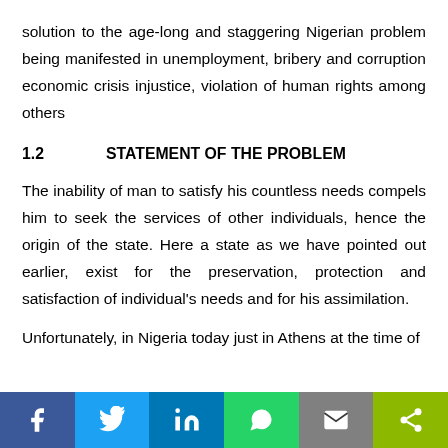solution to the age-long and staggering Nigerian problem being manifested in unemployment, bribery and corruption economic crisis injustice, violation of human rights among others
1.2   STATEMENT OF THE PROBLEM
The inability of man to satisfy his countless needs compels him to seek the services of other individuals, hence the origin of the state. Here a state as we have pointed out earlier, exist for the preservation, protection and satisfaction of individual's needs and for his assimilation.
Unfortunately, in Nigeria today just in Athens at the time of